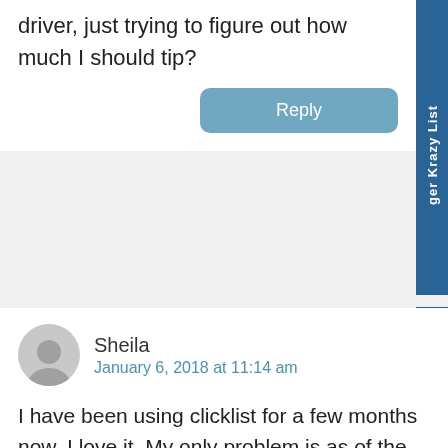driver, just trying to figure out how much I should tip?
Reply
Sheila  January 6, 2018 at 11:14 am
I have been using clicklist for a few months now, I love it. My only problem is as of the last 6 weeks I have not been able to view the items in click list. I have had to type in everything I want, nothing shows up, then only the item that I have typed shows up. What is going on? Don't